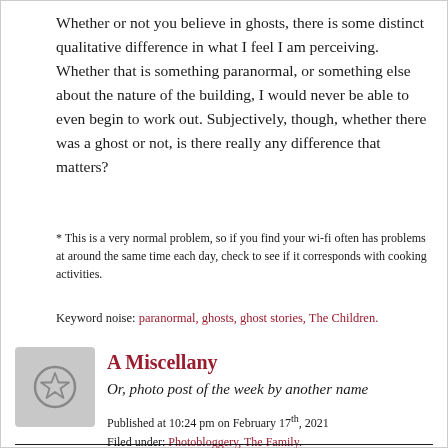Whether or not you believe in ghosts, there is some distinct qualitative difference in what I feel I am perceiving. Whether that is something paranormal, or something else about the nature of the building, I would never be able to even begin to work out. Subjectively, though, whether there was a ghost or not, is there really any difference that matters?
* This is a very normal problem, so if you find your wi-fi often has problems at around the same time each day, check to see if it corresponds with cooking activities.
Keyword noise: paranormal, ghosts, ghost stories, The Children.
[Figure (illustration): Grey rounded square avatar with a star icon outline in the center]
A Miscellany
Or, photo post of the week by another name
Published at 10:24 pm on February 17th, 2021
Filed under: Photobloggery, The Family.